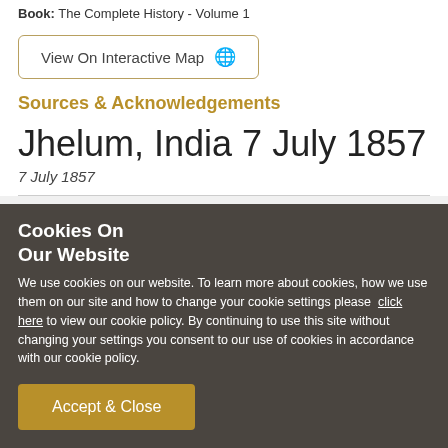Book: The Complete History - Volume 1
View On Interactive Map 🌐
Sources & Acknowledgements
Jhelum, India 7 July 1857
7 July 1857
More details about:
Cookies On Our Website
We use cookies on our website. To learn more about cookies, how we use them on our site and how to change your cookie settings please click here to view our cookie policy. By continuing to use this site without changing your settings you consent to our use of cookies in accordance with our cookie policy.
Accept & Close